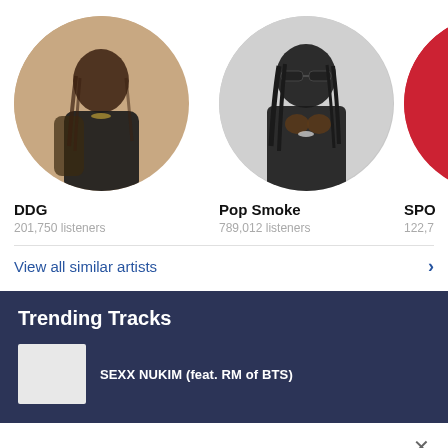[Figure (photo): Circular profile photo of DDG, a rapper with braided hair wearing a black jacket over leopard print clothing, on a beige/tan background]
DDG
201,750 listeners
[Figure (photo): Circular profile photo of Pop Smoke, a rapper wearing sunglasses and a dark jacket, on a light grey background]
Pop Smoke
789,012 listeners
[Figure (photo): Partial circular profile photo (cropped at right edge), showing red clothing, artist name starting with SPO]
SPO
122,7
View all similar artists
Trending Tracks
[Figure (photo): Small rectangular thumbnail for a trending track]
SEXX NUKIM (feat. RM of BTS)